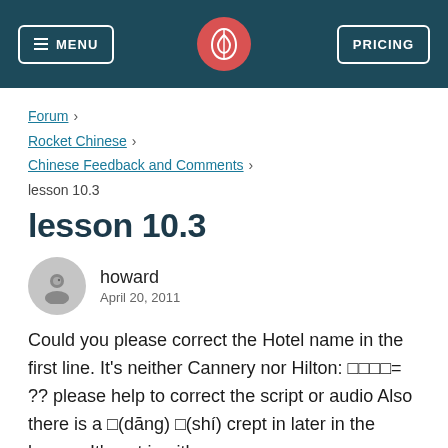MENU | [logo] | PRICING
Forum > Rocket Chinese > Chinese Feedback and Comments > lesson 10.3
lesson 10.3
howard
April 20, 2011
Could you please correct the Hotel name in the first line. It's neither Cannery nor Hilton: □□□□= ?? please help to correct the script or audio Also there is a □(dāng) □(shí) crept in later in the lesson. It's not in either